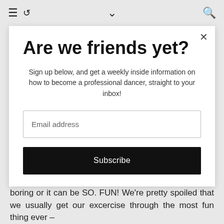≡  ↺  ∨  🔍
Are we friends yet?
Sign up below, and get a weekly inside information on how to become a professional dancer, straight to your inbox!
Email address
Subscribe
Working on your fitness like Fergie-Ferg can be soooo boring or it can be SO. FUN! We're pretty spoiled that we usually get our excercise through the most fun thing ever –